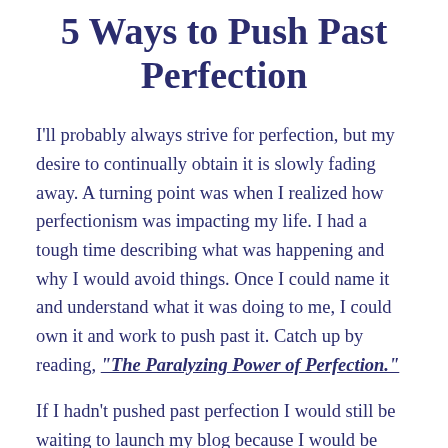5 Ways to Push Past Perfection
I'll probably always strive for perfection, but my desire to continually obtain it is slowly fading away. A turning point was when I realized how perfectionism was impacting my life. I had a tough time describing what was happening and why I would avoid things. Once I could name it and understand what it was doing to me, I could own it and work to push past it. Catch up by reading, "The Paralyzing Power of Perfection."
If I hadn't pushed past perfection I would still be waiting to launch my blog because I would be trying to write the perfect post. I'm so glad I didn't...